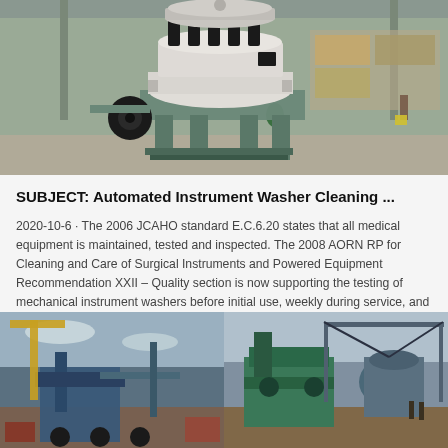[Figure (photo): Industrial cone crusher machine in a large warehouse/factory setting. The machine is white and grey metal with black spring components on top, mounted on a blue-green metal frame. Warehouse background with shelving and goods visible.]
SUBJECT: Automated Instrument Washer Cleaning ...
2020-10-6  ·  The 2006 JCAHO standard E.C.6.20 states that all medical equipment is maintained, tested and inspected. The 2008 AORN RP for Cleaning and Care of Surgical Instruments and Powered Equipment Recommendation XXII – Quality section is now supporting the testing of mechanical instrument washers before initial use, weekly during service, and
[Figure (photo): Industrial heavy machinery at a construction or mining site, left side. Blue machinery with yellow crane arm visible.]
[Figure (photo): Industrial heavy machinery at a construction or mining site, right side. Green/teal machinery with workers nearby.]